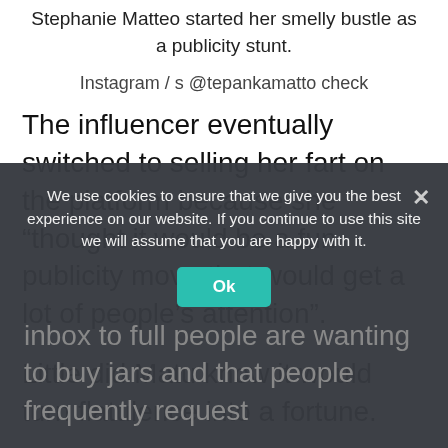Stephanie Matteo started her smelly bustle as a publicity stunt.
Instagram / s @tepankamatto check
The influencer eventually switched to selling her fart on the platform because she “thought it would be a fun publicity move that would get a lot of people’s attention”.
Little did Matu know it would turn flatulence into a fortune.
In a recent video that garnered nearly 20,000 views, the invader explained that she inbox to full people are wanting to buy jars and that people frequently request
We use cookies to ensure that we give you the best experience on our website. If you continue to use this site we will assume that you are happy with it.